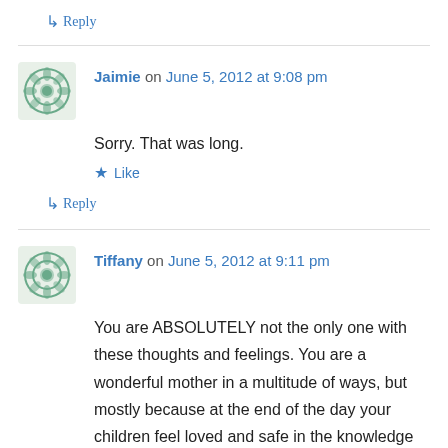↳ Reply
Jaimie on June 5, 2012 at 9:08 pm
Sorry. That was long.
★ Like
↳ Reply
Tiffany on June 5, 2012 at 9:11 pm
You are ABSOLUTELY not the only one with these thoughts and feelings. You are a wonderful mother in a multitude of ways, but mostly because at the end of the day your children feel loved and safe in the knowledge that you will continue to love them each and every day in the